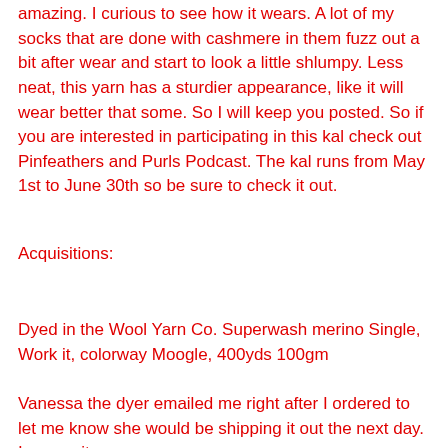amazing. I curious to see how it wears. A lot of my socks that are done with cashmere in them fuzz out a bit after wear and start to look a little shlumpy. Less neat, this yarn has a sturdier appearance, like it will wear better that some. So I will keep you posted. So if you are interested in participating in this kal check out Pinfeathers and Purls Podcast. The kal runs from May 1st to June 30th so be sure to check it out.
Acquisitions:
Dyed in the Wool Yarn Co. Superwash merino Single, Work it, colorway Moogle, 400yds 100gm
Vanessa the dyer emailed me right after I ordered to let me know she would be shipping it out the next day. I was quite